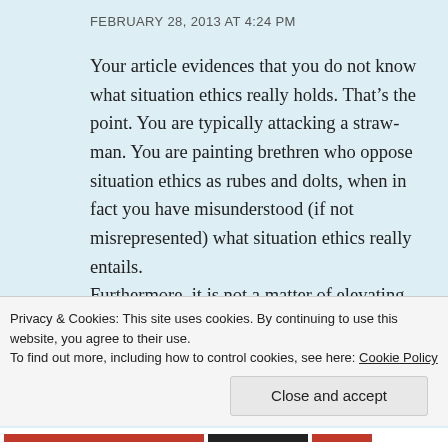FEBRUARY 28, 2013 AT 4:24 PM
Your article evidences that you do not know what situation ethics really holds. That’s the point. You are typically attacking a straw-man. You are painting brethren who oppose situation ethics as rubes and dolts, when in fact you have misunderstood (if not misrepresented) what situation ethics really entails.
Furthermore, it is not a matter of elevating one’s logic to the status of the Scriptures, but properly using logic to interpret them. You attack people
Privacy & Cookies: This site uses cookies. By continuing to use this website, you agree to their use.
To find out more, including how to control cookies, see here: Cookie Policy
Close and accept